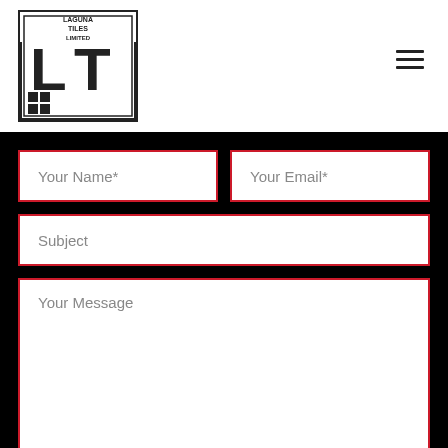[Figure (logo): Laguna Tiles Limited logo — black square border with letters LT and decorative tile graphic, text 'LAGUNA TILES LIMITED' at top]
[Figure (other): Hamburger menu icon — three horizontal black lines]
Your Name*
Your Email*
Subject
Your Message